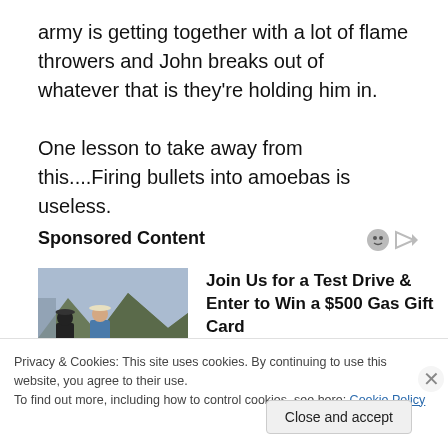army is getting together with a lot of flame throwers and John breaks out of whatever that is they're holding him in.

One lesson to take away from this....Firing bullets into amoebas is useless.
Sponsored Content
[Figure (photo): Advertisement photo showing two people outdoors with mountains in background, with headline: Join Us for a Test Drive & Enter to Win a $500 Gas Gift Card. Source: MobilityWorks]
Privacy & Cookies: This site uses cookies. By continuing to use this website, you agree to their use.
To find out more, including how to control cookies, see here: Cookie Policy
Close and accept